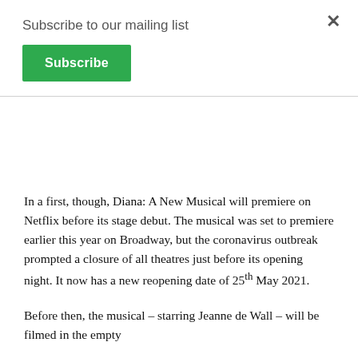Subscribe to our mailing list
Subscribe
×
In a first, though, Diana: A New Musical will premiere on Netflix before its stage debut. The musical was set to premiere earlier this year on Broadway, but the coronavirus outbreak prompted a closure of all theatres just before its opening night. It now has a new reopening date of 25th May 2021.
Before then, the musical – starring Jeanne de Wall – will be filmed in the empty